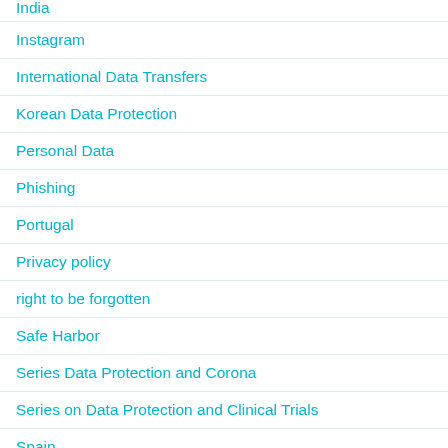Instagram
International Data Transfers
Korean Data Protection
Personal Data
Phishing
Portugal
Privacy policy
right to be forgotten
Safe Harbor
Series Data Protection and Corona
Series on Data Protection and Clinical Trials
Spain
Spanish Data Protection
The Netherlands
TAGS